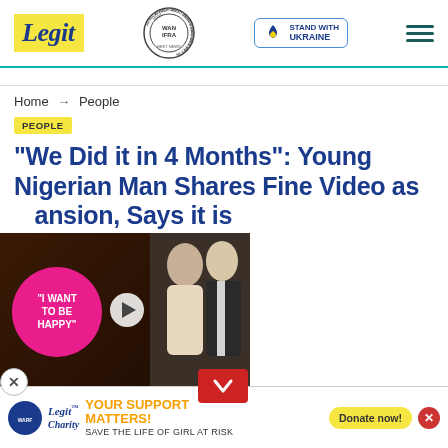Legit — Best News Website in Africa 2021 (WAN-IFRA) — Stand with Ukraine
Home → People
PEOPLE
"We Did it in 4 Months": Young Nigerian Man Shares Fine Video as [Mansion], Says it is
[Figure (screenshot): Video thumbnail showing a pink circle with text 'I WANT TO BE HAPPY' and a couple (young woman and man in suit) with a play button overlay and red collapse button]
Victor Duru
[Figure (other): Advertisement banner: YOUR SUPPORT MATTERS! SAVE THE LIFE OF GIRL AT RISK — Legit Charity / WARF — Donate now!]